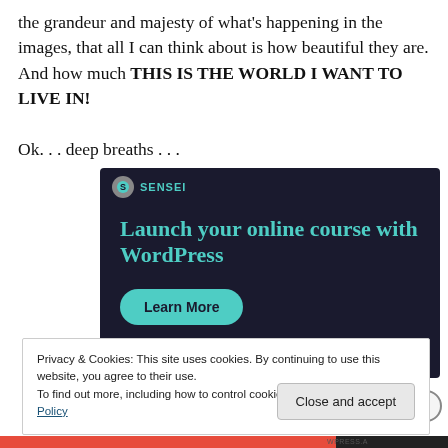the grandeur and majesty of what's happening in the images, that all I can think about is how beautiful they are. And how much THIS IS THE WORLD I WANT TO LIVE IN!
Ok. . . deep breaths . . .
[Figure (screenshot): Advertisement banner with dark background showing 'Launch your online course with WordPress' with a teal 'Learn More' button and Sensei branding]
Privacy & Cookies: This site uses cookies. By continuing to use this website, you agree to their use.
To find out more, including how to control cookies, see here: Cookie Policy
Close and accept